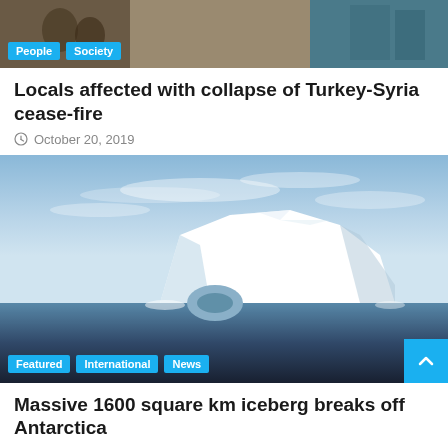[Figure (photo): Top cropped news article image showing a scene with People and Society category tags]
Locals affected with collapse of Turkey-Syria cease-fire
October 20, 2019
[Figure (photo): Large iceberg floating in dark ocean water under blue sky, with Featured, International, News tags]
Massive 1600 square km iceberg breaks off Antarctica